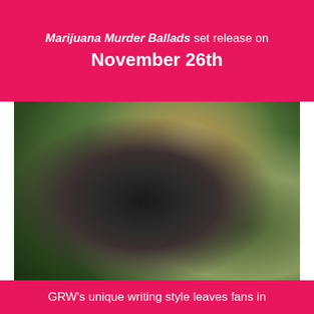Marijuana Murder Ballads set release on November 26th
[Figure (photo): Blurred outdoor photo of a person wearing dark clothing against a green leafy background]
GRW's unique writing style leaves fans in